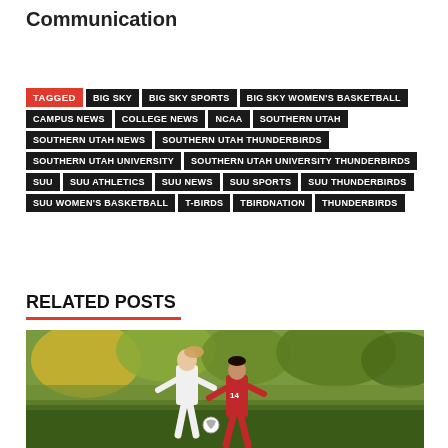Communication
TAGGED | BIG SKY | BIG SKY SPORTS | BIG SKY WOMEN'S BASKETBALL | CAMPUS NEWS | COLLEGE NEWS | NCAA | SOUTHERN UTAH | SOUTHERN UTAH NEWS | SOUTHERN UTAH THUNDERBIRDS | SOUTHERN UTAH UNIVERSITY | SOUTHERN UTAH UNIVERSITY THUNDERBIRDS | SUU | SUU ATHLETICS | SUU NEWS | SUU SPORTS | SUU THUNDERBIRDS | SUU WOMEN'S BASKETBALL | T-BIRDS | TBIRDNATION | THUNDERBIRDS
RELATED POSTS
[Figure (photo): Two female soccer players competing for the ball on a grass field with trees in the background. One player is in white uniform, the other in red uniform with number 14.]